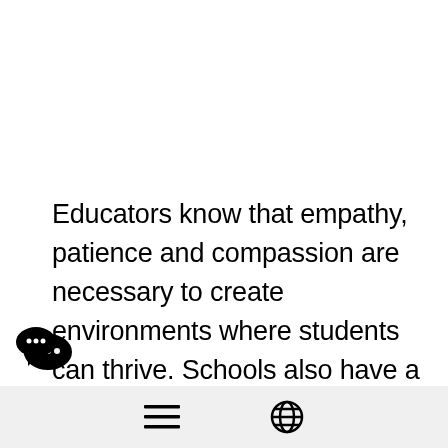Educators know that empathy, patience and compassion are necessary to create environments where students can thrive. Schools also have a role in breaking down barriers defined by race, culture, physical ability, socio-economic background or other measures of identity and embracing access for all– both in and out of the classroom. In this article
[Figure (illustration): WeChat app icon showing two overlapping speech bubble characters]
hamburger menu icon and globe/language icon navigation bar